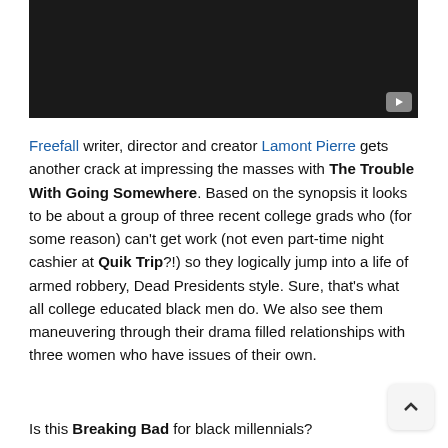[Figure (screenshot): Dark video thumbnail with YouTube play button in bottom-right corner]
Freefall writer, director and creator Lamont Pierre gets another crack at impressing the masses with The Trouble With Going Somewhere. Based on the synopsis it looks to be about a group of three recent college grads who (for some reason) can't get work (not even part-time night cashier at Quik Trip?!) so they logically jump into a life of armed robbery, Dead Presidents style. Sure, that's what all college educated black men do. We also see them maneuvering through their drama filled relationships with three women who have issues of their own.
Is this Breaking Bad for black millennials?